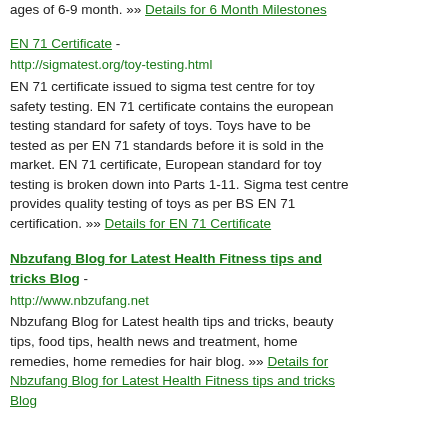ages of 6-9 month. »» Details for 6 Month Milestones
EN 71 Certificate - http://sigmatest.org/toy-testing.html
EN 71 certificate issued to sigma test centre for toy safety testing. EN 71 certificate contains the european testing standard for safety of toys. Toys have to be tested as per EN 71 standards before it is sold in the market. EN 71 certificate, European standard for toy testing is broken down into Parts 1-11. Sigma test centre provides quality testing of toys as per BS EN 71 certification. »» Details for EN 71 Certificate
Nbzufang Blog for Latest Health Fitness tips and tricks Blog - http://www.nbzufang.net
Nbzufang Blog for Latest health tips and tricks, beauty tips, food tips, health news and treatment, home remedies, home remedies for hair blog. »» Details for Nbzufang Blog for Latest Health Fitness tips and tricks Blog